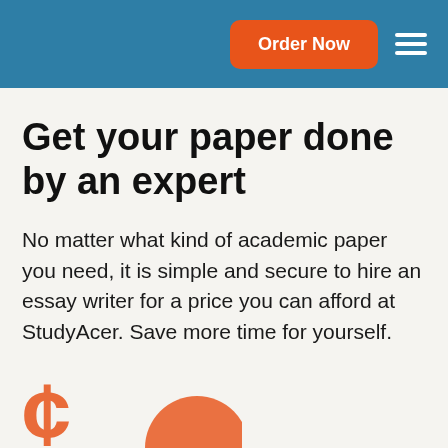Order Now
Get your paper done by an expert
No matter what kind of academic paper you need, it is simple and secure to hire an essay writer for a price you can afford at StudyAcer. Save more time for yourself.
[Figure (illustration): Orange currency/dollar sign symbol and orange circle at the bottom of the page, partially cropped]